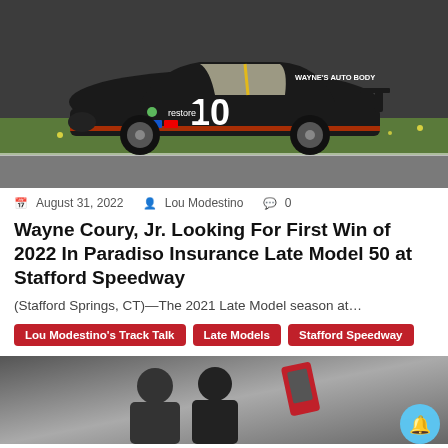[Figure (photo): Black stock car number 10 with 'restore' and 'WAYNE'S AUTO BODY' decals racing on a track, green grass infield visible]
August 31, 2022   Lou Modestino   0
Wayne Coury, Jr. Looking For First Win of 2022 In Paradiso Insurance Late Model 50 at Stafford Speedway
(Stafford Springs, CT)—The 2021 Late Model season at…
Lou Modestino's Track Talk
Late Models
Stafford Speedway
[Figure (photo): Two people posing for a selfie, one holding a red phone up]